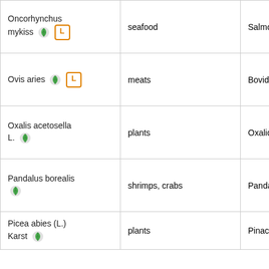| Species | Category | Family |
| --- | --- | --- |
| Oncorhynchus mykiss [leaf icon] [L] | seafood | Salmonidae |
| Ovis aries [leaf icon] [L] | meats | Bovidae |
| Oxalis acetosella L. [leaf icon] | plants | Oxalidaceae |
| Pandalus borealis [leaf icon] | shrimps, crabs | Pandalidae |
| Picea abies (L.) Karst [leaf icon] | plants | Pinaceae |